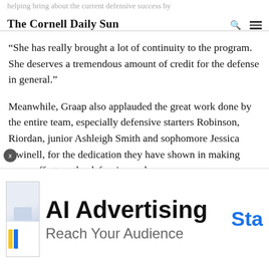The Cornell Daily Sun
“She has really brought a lot of continuity to the program. She deserves a tremendous amount of credit for the defense in general.”
Meanwhile, Graap also applauded the great work done by the entire team, especially defensive starters Robinson, Riordan, junior Ashleigh Smith and sophomore Jessica Dwinell, for the dedication they have shown in making every effort on the defensive end.
“There are a lot of solid players that really form a strong nucleus back there. We have a lot teamwork and a lot synergies.”
[Figure (infographic): AI Advertising banner ad with text 'AI Advertising / Reach Your Audience' and a 'Sta' (Start) CTA button in blue, with a small laptop/screen illustration on the left.]